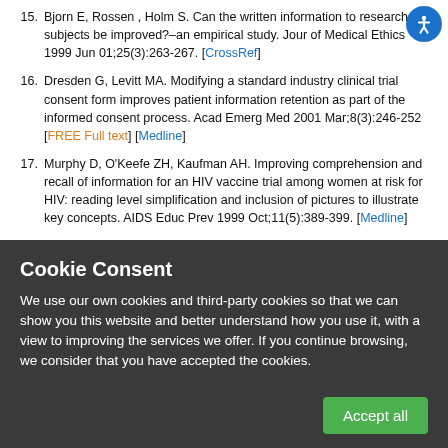15. Bjorn E, Rossen , Holm S. Can the written information to research subjects be improved?–an empirical study. Jour of Medical Ethics 1999 Jun 01;25(3):263-267. [CrossRef]
16. Dresden G, Levitt MA. Modifying a standard industry clinical trial consent form improves patient information retention as part of the informed consent process. Acad Emerg Med 2001 Mar;8(3):246-252 [FREE Full text] [Medline]
17. Murphy D, O'Keefe ZH, Kaufman AH. Improving comprehension and recall of information for an HIV vaccine trial among women at risk for HIV: reading level simplification and inclusion of pictures to illustrate key concepts. AIDS Educ Prev 1999 Oct;11(5):389-399. [Medline]
Cookie Consent
We use our own cookies and third-party cookies so that we can show you this website and better understand how you use it, with a view to improving the services we offer. If you continue browsing, we consider that you have accepted the cookies.